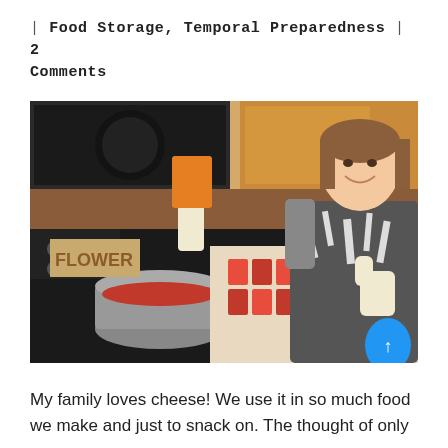| Food Storage, Temporal Preparedness | 2 Comments
[Figure (photo): A smiling young woman wearing a zebra-print apron and white gloves stands at a kitchen stove, holding up a block of orange wax/cheese and giving a thumbs-up. On the counter are many red/orange wax molds and a pot on the stove with red liquid.]
My family loves cheese! We use it in so much food we make and just to snack on. The thought of only